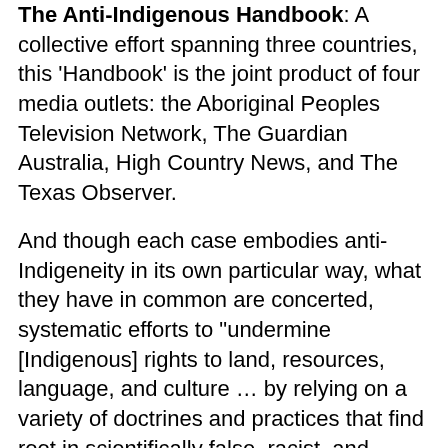The Anti-Indigenous Handbook: A collective effort spanning three countries, this 'Handbook' is the joint product of four media outlets: the Aboriginal Peoples Television Network, The Guardian Australia, High Country News, and The Texas Observer.
And though each case embodies anti-Indigeneity in its own particular way, what they have in common are concerted, systematic efforts to "undermine [Indigenous] rights to land, resources, language, and culture … by relying on a variety of doctrines and practices that find root in scientifically false, racist, and legally invalid arguments."
In this first of a two-part discussion, host/producer Rick Harp sits down with two of the contributors to this initiative: Leilani Rania Ganser, a CHamoru (Jeje and Romeo Clans) and Kānaka Maoli writer, storyteller, and organizer who works to include traditional Pasifika methods of storytelling into journalism, research, and water, land, and medicine protection; as well as Tristan Aht...